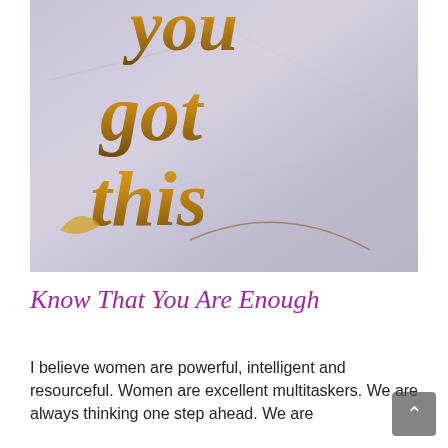[Figure (photo): Close-up photo of a motivational calligraphy surface with gold/bronze hand-lettered text reading 'you got this' on a light lavender/grey textured background. The text is in a flowing cursive style with metallic gold sheen.]
Know That You Are Enough
I believe women are powerful, intelligent and resourceful. Women are excellent multitaskers. We are always thinking one step ahead. We are